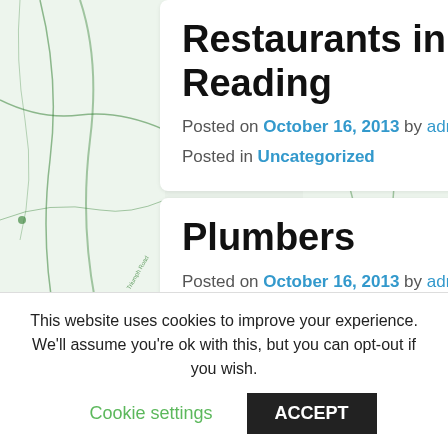[Figure (map): Green street map background on left side]
[Figure (map): Green street map background on right side]
Restaurants in Reading
Posted on October 16, 2013 by admin
Posted in Uncategorized
Plumbers
Posted on October 16, 2013 by admin
Nevilles Plumbing and Building
This website uses cookies to improve your experience. We'll assume you're ok with this, but you can opt-out if you wish.
Cookie settings   ACCEPT